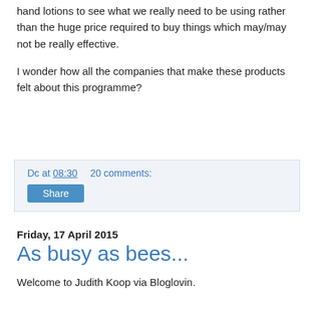hand lotions to see what we really need to be using rather than the huge price required to buy things which may/may not be really effective.
I wonder how all the companies that make these products felt about this programme?
Dc at 08:30   20 comments:
Share
Friday, 17 April 2015
As busy as bees...
Welcome to Judith Koop via Bloglovin.